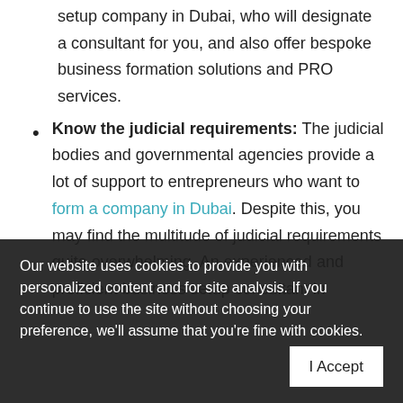setup company in Dubai, who will designate a consultant for you, and also offer bespoke business formation solutions and PRO services.
Know the judicial requirements: The judicial bodies and governmental agencies provide a lot of support to entrepreneurs who want to form a company in Dubai. Despite this, you may find the multitude of judicial requirements quite overwhelming. An experienced and proficient business setup consultant in
Our website uses cookies to provide you with personalized content and for site analysis. If you continue to use the site without choosing your preference, we'll assume that you're fine with cookies.
Sorted documentation: Setting up a company involves legal documentation and paperwork. This can be time-